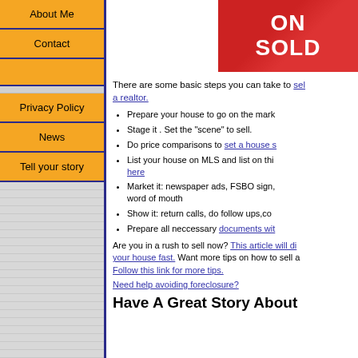[Figure (photo): Red SOLD sign photo in upper right area]
About Me
Contact
Privacy Policy
News
Tell your story
There are some basic steps you can take to sell your house without a realtor.
Prepare your house to go on the mark...
Stage it . Set the "scene" to sell.
Do price comparisons to set a house s...
List your house on MLS and list on thi... here
Market it: newspaper ads, FSBO sign... word of mouth
Show it: return calls, do follow ups,co...
Prepare all neccessary documents wit...
Are you in a rush to sell now? This article will di... your house fast. Want more tips on how to sell a... Follow this link for more tips.
Need help avoiding foreclosure?
Have A Great Story About...